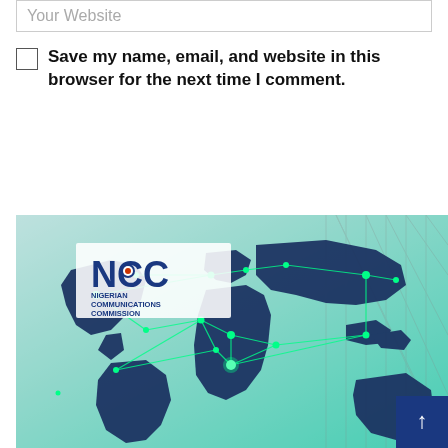Your Website
Save my name, email, and website in this browser for the next time I comment.
POST COMMENT
[Figure (logo): NCC Nigerian Communications Commission logo with a world map network graphic showing green connection lines over a dark blue world map on a teal/green gradient background. A scroll-to-top button appears in the bottom right corner.]